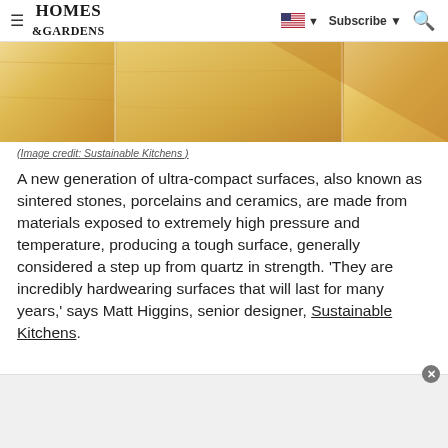≡ HOMES & GARDENS | [US flag] ▼ Subscribe ▼ [Search]
[Figure (photo): Close-up of light blonde wood grain panels with vertical seams, warm golden-yellow tone]
(Image credit: Sustainable Kitchens )
A new generation of ultra-compact surfaces, also known as sintered stones, porcelains and ceramics, are made from materials exposed to extremely high pressure and temperature, producing a tough surface, generally considered a step up from quartz in strength. 'They are incredibly hardwearing surfaces that will last for many years,' says Matt Higgins, senior designer, Sustainable Kitchens.